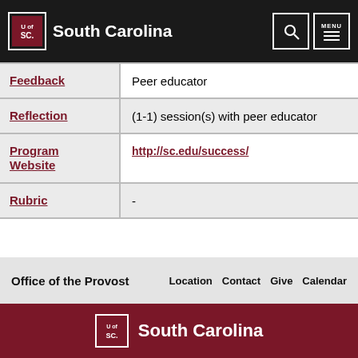South Carolina
|  |  |
| --- | --- |
| Feedback | Peer educator |
| Reflection | (1-1) session(s) with peer educator |
| Program Website | http://sc.edu/success/ |
| Rubric | - |
Office of the Provost  Location  Contact  Give  Calendar
South Carolina